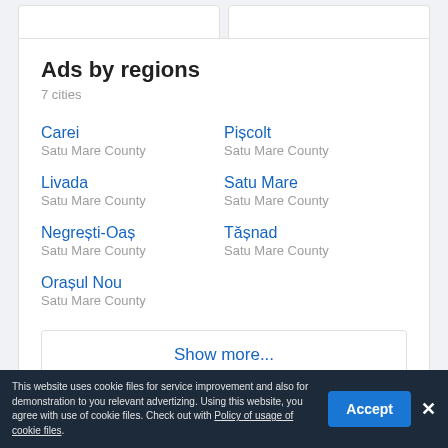Ads by regions
7 cities
Carei
Satu Mare County
Pișcolt
Satu Mare County
Livada
Satu Mare County
Satu Mare
Satu Mare County
Negrești-Oaș
Satu Mare County
Tășnad
Satu Mare County
Orașul Nou
Satu Mare County
Show more...
This website uses cookie files for service improvement and also for demonstration to you relevant advertizing. Using this website, you agree with use of cookie files. Check out with Policy of usage of cookie files.